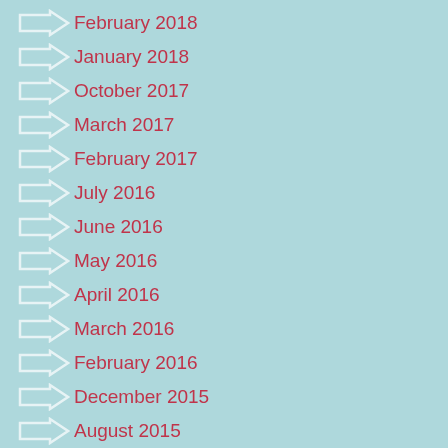February 2018
January 2018
October 2017
March 2017
February 2017
July 2016
June 2016
May 2016
April 2016
March 2016
February 2016
December 2015
August 2015
July 2015
June 2015